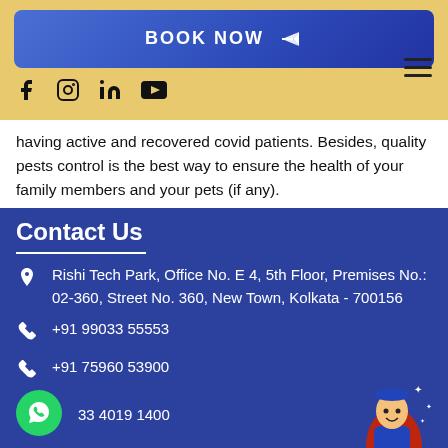[Figure (screenshot): BOOK NOW button with blue gradient background]
[Figure (infographic): Social media icons: Facebook, Instagram, LinkedIn, YouTube and hamburger menu]
having active and recovered covid patients. Besides, quality pests control is the best way to ensure the health of your family members and your pets (if any).
Contact Us
Rishi Tech Park, Office No. E 4, 5th Floor, Premises No.: 02-360, Street No. 360, New Town, Kolkata - 700156
+91 99033 55553
+91 75960 53900
33 4019 1400
info@servicezet.com
Useful Links
Social Links
[Figure (illustration): Cartoon mascot of a serviceman wearing blue uniform and cape, holding a toolbox, with sparkle stars]